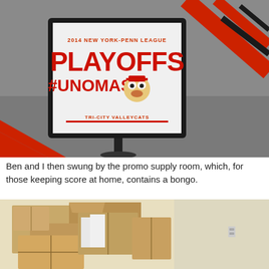[Figure (photo): A framed sign for the 2014 New York-Penn League Playoffs with '#UNOMAS' and 'Tri-City ValleyCats' branding. The sign stands on pavement with red rope barriers visible.]
Ben and I then swung by the promo supply room, which, for those keeping score at home, contains a bongo.
[Figure (photo): Cardboard boxes stacked in a storage room (promo supply room), partially open.]